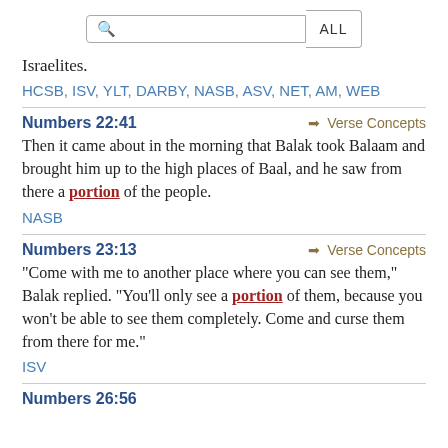[Figure (screenshot): Search bar with magnifying glass icon and 'ALL' button]
Israelites.
HCSB, ISV, YLT, DARBY, NASB, ASV, NET, AM, WEB
Numbers 22:41
→ Verse Concepts
Then it came about in the morning that Balak took Balaam and brought him up to the high places of Baal, and he saw from there a portion of the people.
NASB
Numbers 23:13
→ Verse Concepts
"Come with me to another place where you can see them," Balak replied. "You'll only see a portion of them, because you won't be able to see them completely. Come and curse them from there for me."
ISV
Numbers 26:56